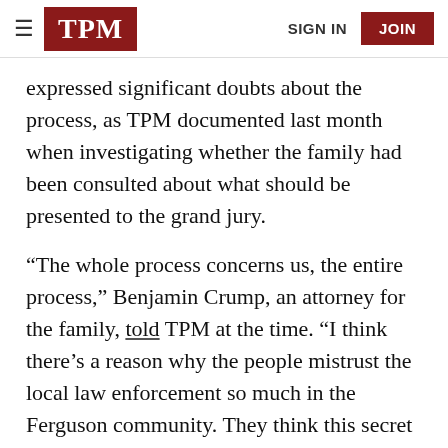TPM | SIGN IN | JOIN
expressed significant doubts about the process, as TPM documented last month when investigating whether the family had been consulted about what should be presented to the grand jury.
“The whole process concerns us, the entire process,” Benjamin Crump, an attorney for the family, told TPM at the time. “I think there’s a reason why the people mistrust the local law enforcement so much in the Ferguson community. They think this secret proceeding is going to be whatever the prosecutor wants it be, and nobody is going to know except the prosecutors and those